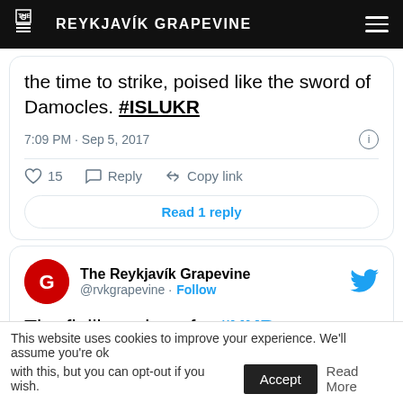THE REYKJAVÍK GRAPEVINE
the time to strike, poised like the sword of Damocles. #ISLUKR
7:09 PM · Sep 5, 2017
15  Reply  Copy link
Read 1 reply
The Reykjavík Grapevine @rvkgrapevine · Follow
The flailing wing of a #UKR canary catches Gylfi Thunderfoot in his heroic
This website uses cookies to improve your experience. We'll assume you're ok with this, but you can opt-out if you wish. Accept Read More